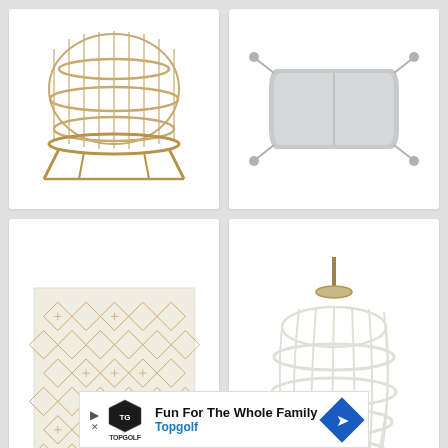[Figure (photo): Rattan/wicker hanging basket chair in natural tan/gold tones, viewed from front]
[Figure (photo): Gray decorative pillow with tassels on corners, on white background]
[Figure (photo): Cream/beige area rug with geometric diamond and cross pattern in tan/gold]
[Figure (photo): White rattan hanging egg/pod chair with rope suspension on white background]
[Figure (photo): Partial product card, mostly cut off at bottom]
[Figure (photo): Partial product card, mostly cut off at bottom right]
Fun For The Whole Family
Topgolf